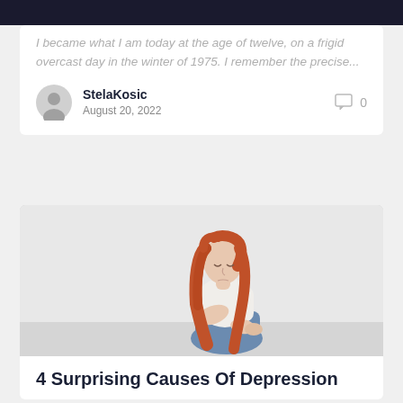I became what I am today at the age of twelve, on a frigid overcast day in the winter of 1975. I remember the precise...
StelaKosic
August 20, 2022
[Figure (photo): A young teenage girl with long red hair sitting against a wall, looking downward with a sad expression, wearing a white shirt and jeans]
4 Surprising Causes Of Depression